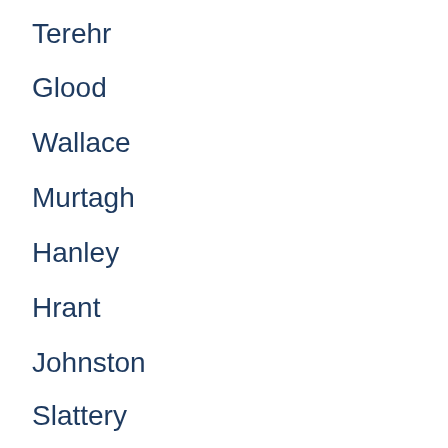Terehr
Glood
Wallace
Murtagh
Hanley
Hrant
Johnston
Slattery